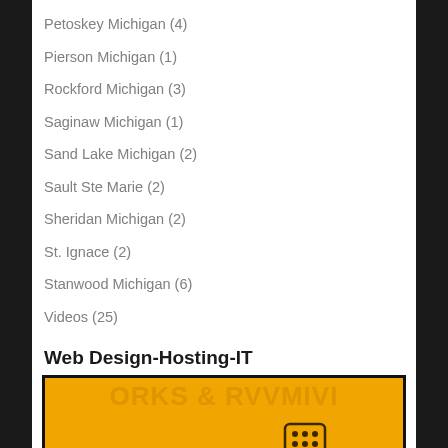Petoskey Michigan (4)
Pierson Michigan (1)
Rockford Michigan (3)
Saginaw Michigan (1)
Sand Lake Michigan (2)
Sault Ste Marie (2)
Sheridan Michigan (2)
St. Ignace (2)
Stanwood Michigan (6)
Videos (25)
Web Design-Hosting-IT
[Figure (logo): West Michigan Technology & Design logo on orange background with decorative faded text behind it]